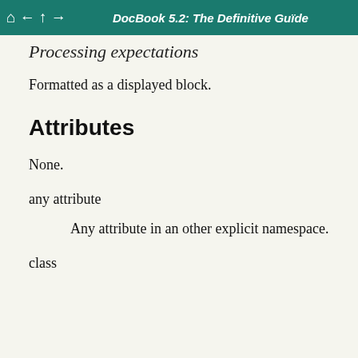DocBook 5.2: The Definitive Guide
Processing expectations
Formatted as a displayed block.
Attributes
None.
any attribute
Any attribute in an other explicit namespace.
class